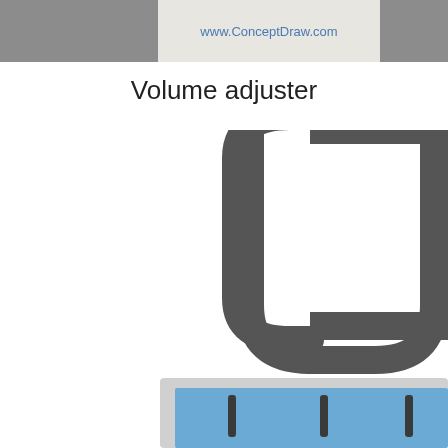www.ConceptDraw.com
Volume adjuster
[Figure (illustration): Volume adjuster diagram showing a U-shaped slider rail (dark grey, rounded ends) at top, and a partially visible panel with light grey border containing a blue area with dark vertical slider handles at the bottom.]